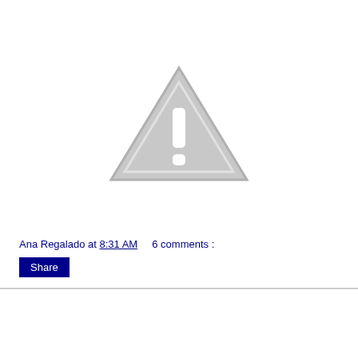[Figure (other): Broken/missing image placeholder — grey triangle with exclamation mark warning icon on white background]
Ana Regalado at 8:31 AM    6 comments :
Share
Friday, December 9, 2011
Chi...